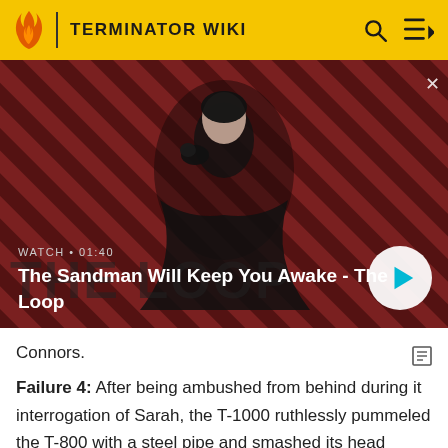TERMINATOR WIKI
[Figure (screenshot): Video thumbnail showing a dark-cloaked figure with a raven on shoulder against a red diagonal-striped background. Overlay text: WATCH • 01:40 / The Sandman Will Keep You Awake - The Loop. Play button on right.]
Connors.
Failure 4: After being ambushed from behind during its interrogation of Sarah, the T-1000 ruthlessly pummeled the T-800 with a steel pipe and smashed its head several times with heavy machinery and a steel ingot before